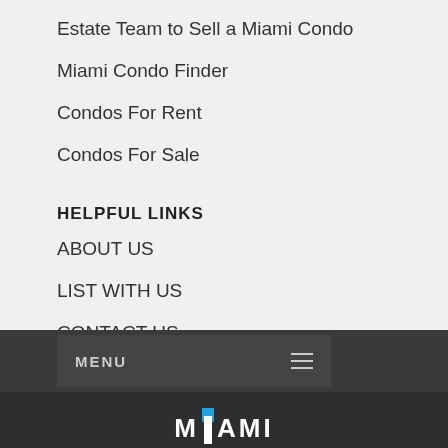Estate Team to Sell a Miami Condo
Miami Condo Finder
Condos For Rent
Condos For Sale
HELPFUL LINKS
ABOUT US
LIST WITH US
CONTACT US
MENU | MIAMI